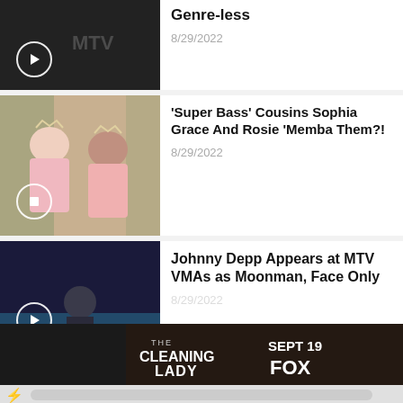[Figure (screenshot): Video thumbnail showing dark figure, partially cropped at top]
Genre-less
8/29/2022
[Figure (photo): Two young girls wearing tiaras and pink dresses, smiling]
'Super Bass' Cousins Sophia Grace And Rosie 'Memba Them?!
8/29/2022
[Figure (photo): Person in astronaut/moonman costume on stage at MTV VMAs]
Johnny Depp Appears at MTV VMAs as Moonman, Face Only
8/29/2022
[Figure (screenshot): Ad banner: The Cleaning Lady, Sept 19, FOX]